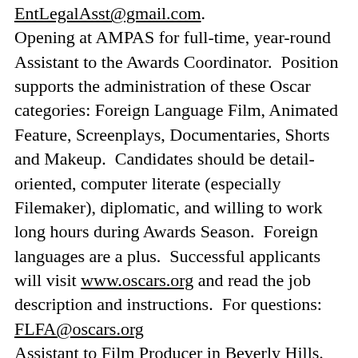EntLegalAsst@gmail.com. Opening at AMPAS for full-time, year-round Assistant to the Awards Coordinator. Position supports the administration of these Oscar categories: Foreign Language Film, Animated Feature, Screenplays, Documentaries, Shorts and Makeup. Candidates should be detail-oriented, computer literate (especially Filemaker), diplomatic, and willing to work long hours during Awards Season. Foreign languages are a plus. Successful applicants will visit www.oscars.org and read the job description and instructions. For questions: FLFA@oscars.org
Assistant to Film Producer in Beverly Hills. Must have experience working on an assistant desk and be detail oriented, resourceful, able to prioritize and multitask, have excellent phone, communication and organizational skills, plus discretion with confidential materials. Responsibilities include phones, scheduling, research,